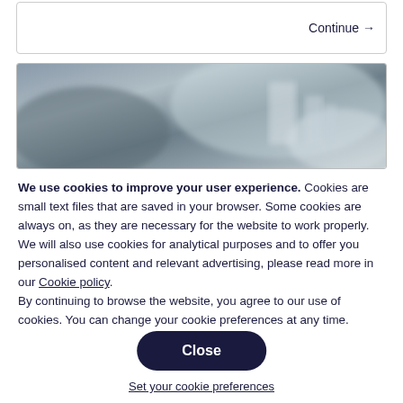[Figure (screenshot): A blurred grayscale/muted-color photograph of an outdoor or industrial scene, used as a website background or banner image.]
Continue →
We use cookies to improve your user experience. Cookies are small text files that are saved in your browser. Some cookies are always on, as they are necessary for the website to work properly. We will also use cookies for analytical purposes and to offer you personalised content and relevant advertising, please read more in our Cookie policy.
By continuing to browse the website, you agree to our use of cookies. You can change your cookie preferences at any time.
Close
Set your cookie preferences